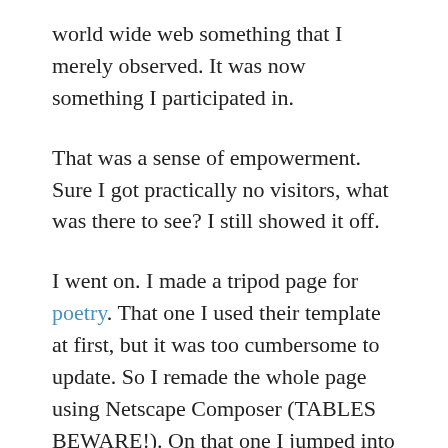world wide web something that I merely observed. It was now something I participated in.
That was a sense of empowerment. Sure I got practically no visitors, what was there to see? I still showed it off.
I went on. I made a tripod page for poetry. That one I used their template at first, but it was too cumbersome to update. So I remade the whole page using Netscape Composer (TABLES BEWARE!). On that one I jumped into some more Javascript. I had a menu I wanted on all of the pages, but didn't want to write it over and over. If I added a page, I would need to update